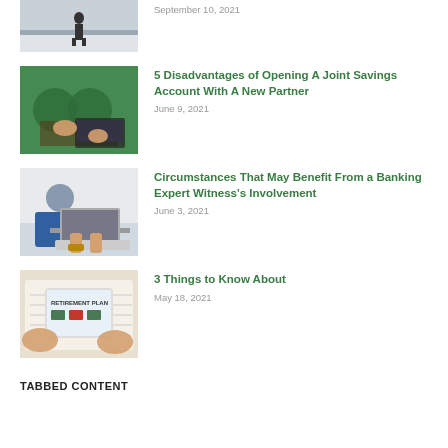[Figure (photo): Person walking in wintry outdoor scene]
September 10, 2021
[Figure (photo): Hands assembling green puzzle pieces near laptop]
5 Disadvantages of Opening A Joint Savings Account With A New Partner
June 9, 2021
[Figure (photo): Person in blue jacket using laptop keyboard]
Circumstances That May Benefit From a Banking Expert Witness's Involvement
June 3, 2021
[Figure (photo): Hands holding tablet showing RETIREMENT PLAN document]
3 Things to Know About
May 18, 2021
TABBED CONTENT